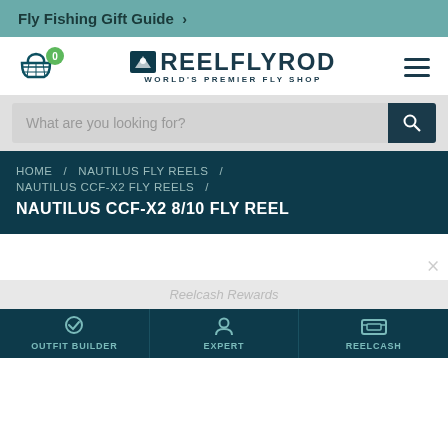Fly Fishing Gift Guide >
[Figure (logo): ReelFlyRod logo with shopping cart icon and hamburger menu. Logo reads REELFLYROD WORLD'S PREMIER FLY SHOP]
What are you looking for?
HOME / NAUTILUS FLY REELS / NAUTILUS CCF-X2 FLY REELS / NAUTILUS CCF-X2 8/10 FLY REEL
Reelcash Rewards
OUTFIT BUILDER   EXPERT   REELCASH